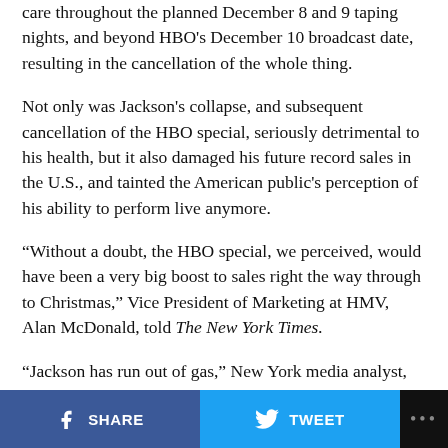care throughout the planned December 8 and 9 taping nights, and beyond HBO's December 10 broadcast date, resulting in the cancellation of the whole thing.
Not only was Jackson's collapse, and subsequent cancellation of the HBO special, seriously detrimental to his health, but it also damaged his future record sales in the U.S., and tainted the American public's perception of his ability to perform live anymore.
“Without a doubt, the HBO special, we perceived, would have been a very big boost to sales right the way through to Christmas,” Vice President of Marketing at HMV, Alan McDonald, told The New York Times.
“Jackson has run out of gas,” New York media analyst, Porter Bibb, said at the time, adding that he “may have seen his day as the King of Pop.”
SHARE  TWEET  ...